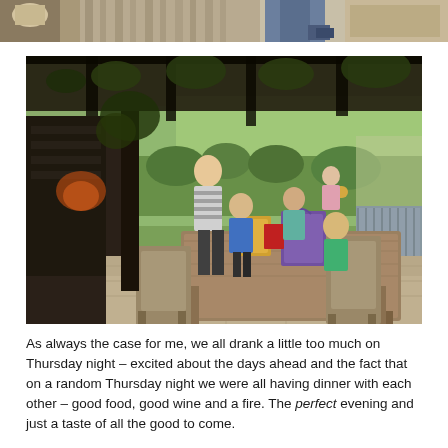[Figure (photo): Partial cropped photo at top of page showing people outdoors, likely a garden or patio setting — appears to be the upper edge of a similar outdoor scene]
[Figure (photo): Outdoor dinner scene under a rustic pergola or vine-covered trellis in a garden. Children and adults are seated around a wooden table with food and gifts. A man in a striped shirt stands nearby. Lush garden and greenery visible in background.]
As always the case for me, we all drank a little too much on Thursday night – excited about the days ahead and the fact that on a random Thursday night we were all having dinner with each other – good food, good wine and a fire. The perfect evening and just a taste of all the good to come.